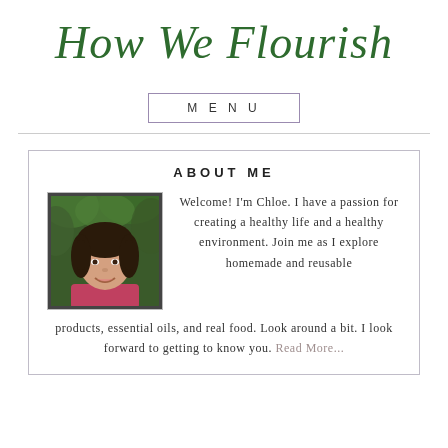How We Flourish
MENU
[Figure (photo): Portrait photo of Chloe, a young woman with dark hair wearing a red/pink top, smiling, with green foliage background]
ABOUT ME
Welcome! I'm Chloe. I have a passion for creating a healthy life and a healthy environment. Join me as I explore homemade and reusable products, essential oils, and real food. Look around a bit. I look forward to getting to know you. Read More...